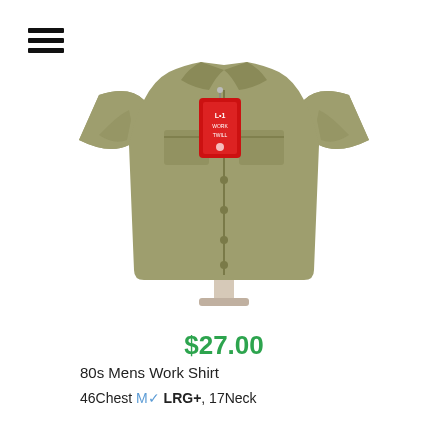[Figure (photo): A khaki/olive green short-sleeve men's work shirt on a mannequin bust, with a red Dickies-style brand tag attached to the front. The shirt has two chest pockets and button-front closure.]
$27.00
80s Mens Work Shirt
46Chest M✓ LRG+, 17Neck